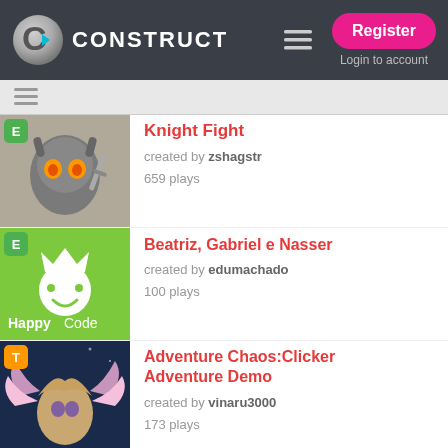CONSTRUCT — Register | Login to account
Knight Fight — created by zshagstr — 659 plays
Beatriz, Gabriel e Nasser — created by edumachado — 100 plays
Adventure Chaos:Clicker Adventure Demo — created by vinaru3000 — 173 plays
Nyan Land!